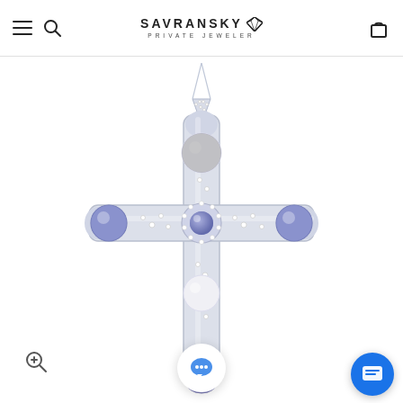SAVRANSKY PRIVATE JEWELER
[Figure (photo): A white gold cross pendant necklace featuring pearl gemstones and tanzanite (purple-blue) stones set in a diamond-encrusted silver cross, hanging from a delicate chain. The cross has rounded ends with tanzanite stones at the horizontal arms and bottom, white pearls on the vertical axis, and a halo of small diamonds at the center.]